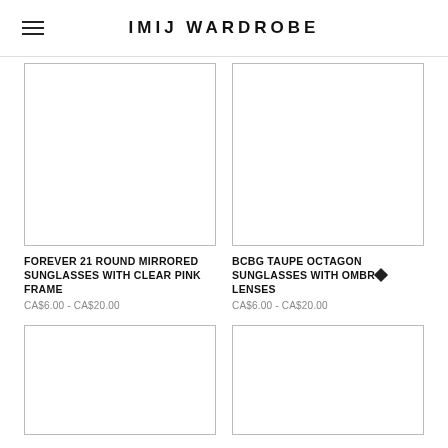IMIJ WARDROBE
[Figure (photo): Product image placeholder for Forever 21 Round Mirrored Sunglasses with Clear Pink Frame]
FOREVER 21 ROUND MIRRORED SUNGLASSES WITH CLEAR PINK FRAME
CA$6.00 - CA$20.00
[Figure (photo): Product image placeholder for BCBG Taupe Octagon Sunglasses with Ombré Lenses]
BCBG TAUPE OCTAGON SUNGLASSES WITH OMBRÉ LENSES
CA$6.00 - CA$20.00
[Figure (photo): Product image placeholder for item 3]
[Figure (photo): Product image placeholder for item 4]